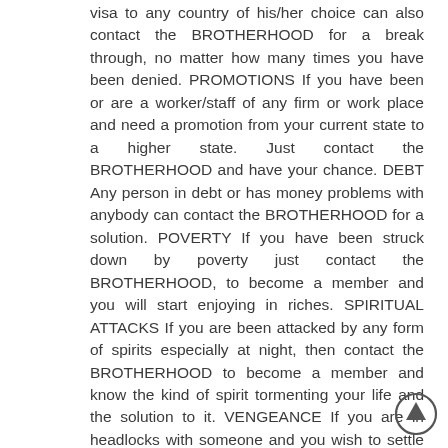visa to any country of his/her choice can also contact the BROTHERHOOD for a break through, no matter how many times you have been denied. PROMOTIONS If you have been or are a worker/staff of any firm or work place and need a promotion from your current state to a higher state. Just contact the BROTHERHOOD and have your chance. DEBT Any person in debt or has money problems with anybody can contact the BROTHERHOOD for a solution. POVERTY If you have been struck down by poverty just contact the BROTHERHOOD, to become a member and you will start enjoying in riches. SPIRITUAL ATTACKS If you are been attacked by any form of spirits especially at night, then contact the BROTHERHOOD to become a member and know the kind of spirit tormenting your life and the solution to it. VENGEANCE If you are in headlocks with someone and you wish to settle the case in your favour, then contact the BROTHERHOOD to become a member and you shall surely gain what you seek for. +234904 701 8548 PROTECTION If you want a strong protection. Either for your business or against your competitors, kindly contact the BROTHERHOOD to become a member and you will be safe. Others No matter your problems or grievances, just contact the BROTHERHOOD to become a member break your intentions and problems General Information OUR RITUALS, MONEY RITUALS. JOB RITUALS. POWER RITUALS. PROSPERITY RITUALS. BANISHING DEBT RITUALS. LOTTO RITUALS. REVENGE RITUALS. E.T. C. Call now for more enquire++234904 701 8548 Brotherhood in Nigeria brings you into the land of the riches where all heart desires is guarantee in less than thirty days (30). and do what your mate would not
[Figure (illustration): A circular scroll-up button with an upward arrow, positioned at the bottom right of the page.]